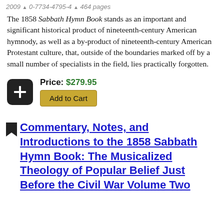2009 ▲ 0-7734-4795-4 ▲ 464 pages
The 1858 Sabbath Hymn Book stands as an important and significant historical product of nineteenth-century American hymnody, as well as a by-product of nineteenth-century American Protestant culture, that, outside of the boundaries marked off by a small number of specialists in the field, lies practically forgotten.
Price: $279.95
Add to Cart
Commentary, Notes, and Introductions to the 1858 Sabbath Hymn Book: The Musicalized Theology of Popular Belief Just Before the Civil War Volume Two